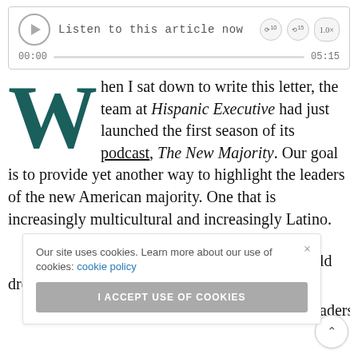[Figure (screenshot): Audio player widget with play button, 'Listen to this article now' label, skip controls, speed button (1.0x), progress bar showing 00:00 of 05:15]
When I sat down to write this letter, the team at Hispanic Executive had just launched the first season of its podcast, The New Majority. Our goal is to provide yet another way to highlight the leaders of the new American majority. One that is increasingly multicultural and increasingly Latino.
Our site uses cookies. Learn more about our use of cookies: cookie policy
I ACCEPT USE OF COOKIES
ld dream) aders we mportance hering them